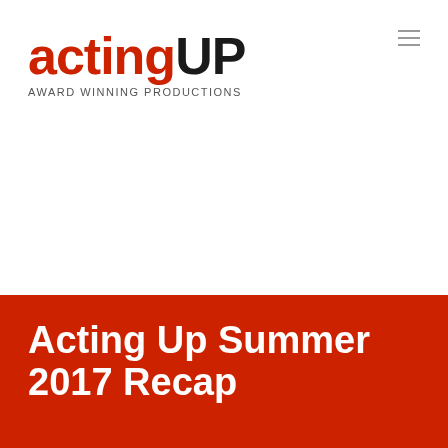[Figure (logo): Acting UP logo with red 'acting' text and black 'UP' text, with tagline 'AWARD WINNING PRODUCTIONS']
Acting Up Summer 2017 Recap